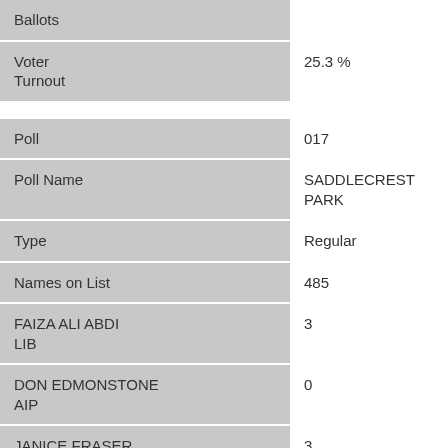| Field | Value |
| --- | --- |
| Ballots |  |
| Voter Turnout | 25.3 % |
| Poll | 017 |
| Poll Name | SADDLECREST PARK |
| Type | Regular |
| Names on List | 485 |
| FAIZA ALI ABDI LIB | 3 |
| DON EDMONSTONE AIP | 0 |
| JANICE FRASER GPA | 3 |
| JASRAJ SINGH HALLAN NDP | 73 |